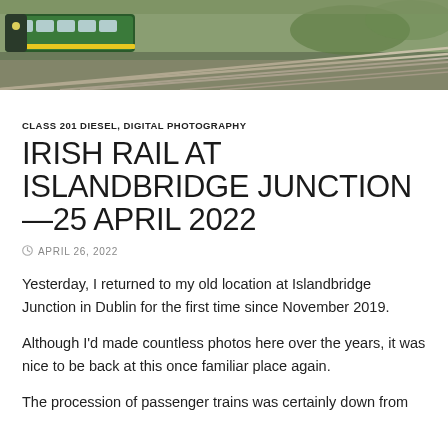[Figure (photo): Aerial/overhead view of an Irish Rail train (green and yellow livery) on railway tracks with multiple rail lines visible, surrounded by grass and gravel.]
CLASS 201 DIESEL, DIGITAL PHOTOGRAPHY
IRISH RAIL AT ISLANDBRIDGE JUNCTION —25 APRIL 2022
APRIL 26, 2022
Yesterday, I returned to my old location at Islandbridge Junction in Dublin for the first time since November 2019.
Although I'd made countless photos here over the years, it was nice to be back at this once familiar place again.
The procession of passenger trains was certainly down from